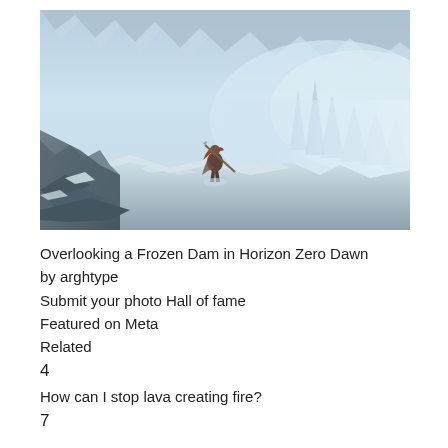[Figure (photo): Screenshot from Horizon Zero Dawn video game showing a character with a spear standing on a snowy rocky ledge overlooking a frozen, icy landscape with tall ice formations, misty atmosphere, and a frozen river or dam in the background.]
Overlooking a Frozen Dam in Horizon Zero Dawn by arghtype
Submit your photo Hall of fame
Featured on Meta
Related
4
How can I stop lava creating fire?
7